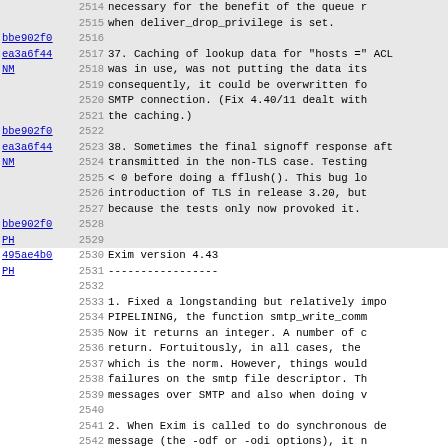Code listing with line numbers 2514-2546, showing changelog entries for Exim versions 4.43 and earlier, with commit hashes and author initials in left columns.